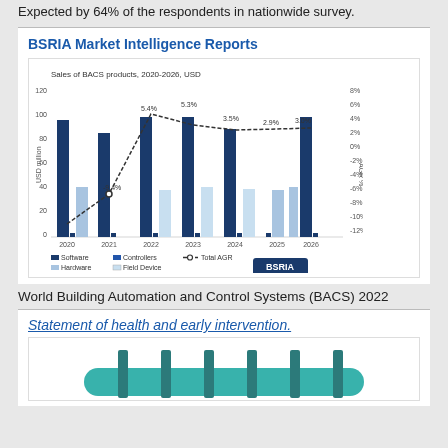Expected by 64% of the respondents in nationwide survey.
BSRIA Market Intelligence Reports
[Figure (bar-chart): Sales of BACS products, 2020-2026, USD]
World Building Automation and Control Systems (BACS) 2022
Statement of health and early intervention.
[Figure (illustration): Partial view of a teal/green panel or grid structure illustration]